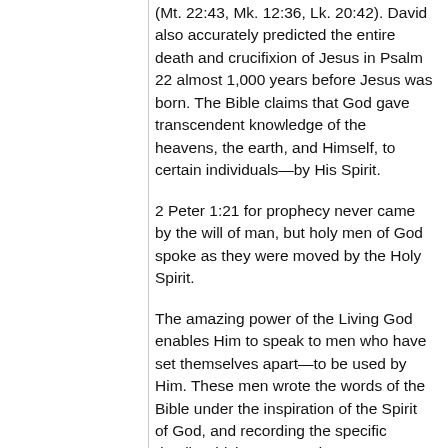(Mt. 22:43, Mk. 12:36, Lk. 20:42). David also accurately predicted the entire death and crucifixion of Jesus in Psalm 22 almost 1,000 years before Jesus was born. The Bible claims that God gave transcendent knowledge of the heavens, the earth, and Himself, to certain individuals—by His Spirit.
2 Peter 1:21 for prophecy never came by the will of man, but holy men of God spoke as they were moved by the Holy Spirit.
The amazing power of the Living God enables Him to speak to men who have set themselves apart—to be used by Him. These men wrote the words of the Bible under the inspiration of the Spirit of God, and recording the specific details which He wanted to communicate. It is logical that if there is a Being who has the technology and power to create this vast and complex universe, He is certainly able to cause certain men to record the words that He desires to communicate to us and preserve these words over time.